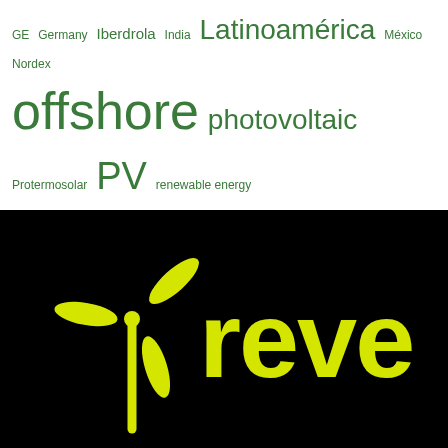[Figure (other): Word cloud with renewable energy related tags in green text on white background: GE, Germany, Iberdrola, India, Latinoamérica, México, Nordex, offshore, photovoltaic, Protermosolar, PV, renewable energy, solar energy, Solar Power, Spain, termosolar, U.S., UK, Vestas, wind-farm, wind energy, Wind Energy, wind power, África]
[Figure (logo): REVE logo on black background: yellow wind turbine icon on the left, yellow lowercase text 'reve' on the right]